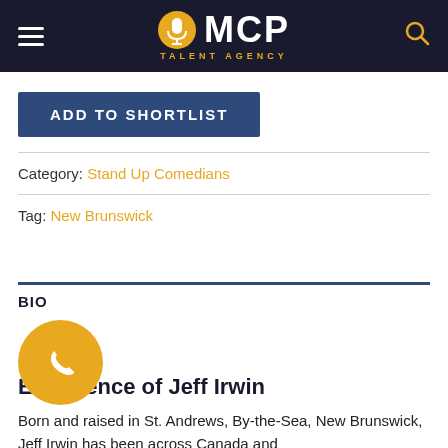MCP Talent Agency
ADD TO SHORTLIST
Category: Stand Up Comedians
Tag: New Brunswick
BIO
ACHIEVEMENTS
Experience of Jeff Irwin
Born and raised in St. Andrews, By-the-Sea, New Brunswick, Jeff Irwin has been across Canada and